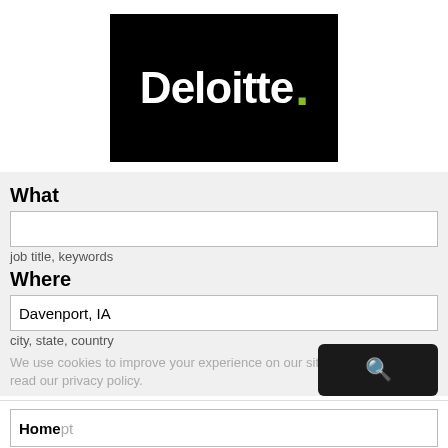[Figure (logo): Deloitte logo — white bold text 'Deloitte.' with a green dot on black background]
What
job title, keywords
Where
Davenport, IA
city, state, country
We use cookies to improve your experience on our site. To find out more, read our privacy policy.
Home